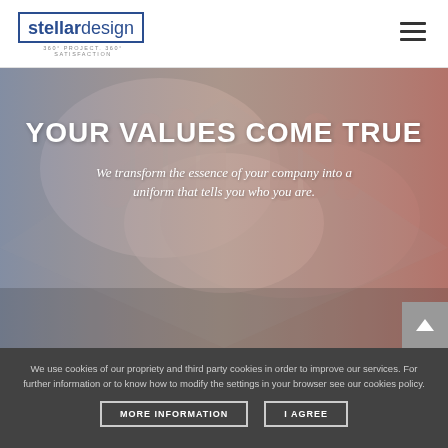[Figure (logo): Stellar Design logo with text 'stellardesign' in a blue border box, tagline '360° PROJECT. 360° SATISFACTION' below]
[Figure (photo): Hero section with a background photo of two hands shaking, overlaid with a blue-to-red gradient tint, containing headline text 'YOUR VALUES COME TRUE' and subtitle text]
YOUR VALUES COME TRUE
We transform the essence of your company into a uniform that tells you who you are.
We use cookies of our propriety and third party cookies in order to improve our services. For further information or to know how to modify the settings in your browser see our cookies policy.